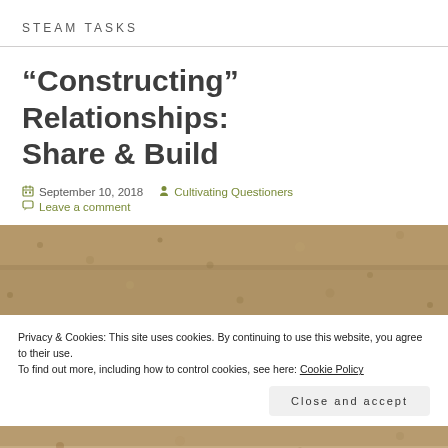STEAM TASKS
“Constructing” Relationships: Share & Build
September 10, 2018   Cultivating Questioners
Leave a comment
[Figure (photo): Close-up photo of sandy/gravel textured surface, brownish-tan color]
Privacy & Cookies: This site uses cookies. By continuing to use this website, you agree to their use.
To find out more, including how to control cookies, see here: Cookie Policy
[Figure (photo): Partial photo of a sandy/gravel surface at bottom of page]